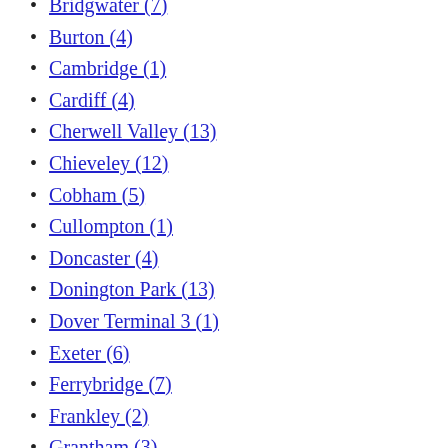Bridgwater (7)
Burton (4)
Cambridge (1)
Cardiff (4)
Cherwell Valley (13)
Chieveley (12)
Cobham (5)
Cullompton (1)
Doncaster (4)
Donington Park (13)
Dover Terminal 3 (1)
Exeter (6)
Ferrybridge (7)
Frankley (2)
Grantham (3)
Heston (7)
Kinross (4)
Knutsford (5)
Lancaster (8)
Leeming Bar (1)
Leigh Delamere (15)
Lymm (2)
Medway (1)
Pease Pottage (7)
Peterborough (5)